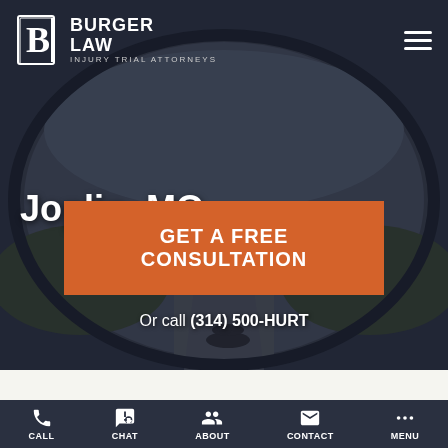[Figure (screenshot): Hero background image showing a rearview mirror reflecting a road scene with a person lying on the ground]
BURGER LAW INJURY TRIAL ATTORNEYS
Joplin, MO
GET A FREE CONSULTATION
Or call (314) 500-HURT
CALL  CHAT  ABOUT  CONTACT  MENU